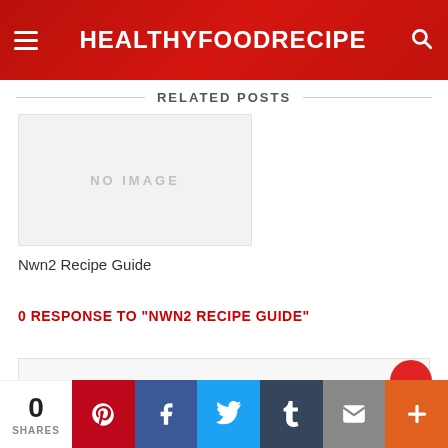HEALTHYFOODRECIPE
RELATED POSTS
[Figure (photo): NO IMAGE placeholder box]
Nwn2 Recipe Guide
0 RESPONSE TO "NWN2 RECIPE GUIDE"
0 SHARES — Pinterest, Facebook, Twitter, Tumblr, Email, More share buttons